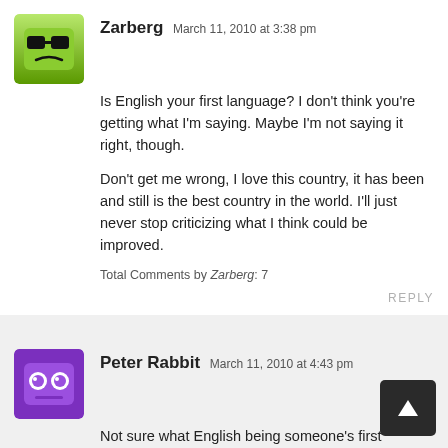Zarberg  March 11, 2010 at 3:38 pm
Is English your first language? I don't think you're getting what I'm saying. Maybe I'm not saying it right, though.

Don't get me wrong, I love this country, it has been and still is the best country in the world. I'll just never stop criticizing what I think could be improved.
Total Comments by Zarberg: 7
REPLY
Peter Rabbit  March 11, 2010 at 4:43 pm
Not sure what English being someone's first language or tenth has to do with comprehension. I figured someone with such high values as yourself would not have made such an ignorant and low blo comment. So if I am a fresh off the boat